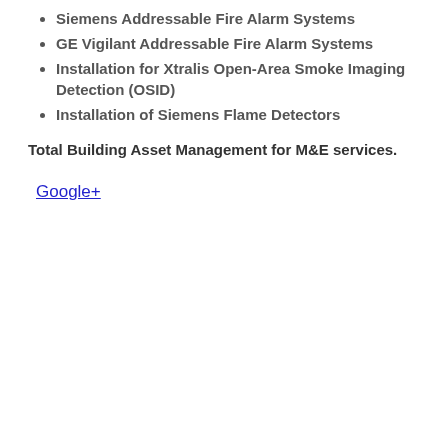Siemens Addressable Fire Alarm Systems
GE Vigilant Addressable Fire Alarm Systems
Installation for Xtralis Open-Area Smoke Imaging Detection (OSID)
Installation of Siemens Flame Detectors
Total Building Asset Management for M&E services.
Google+